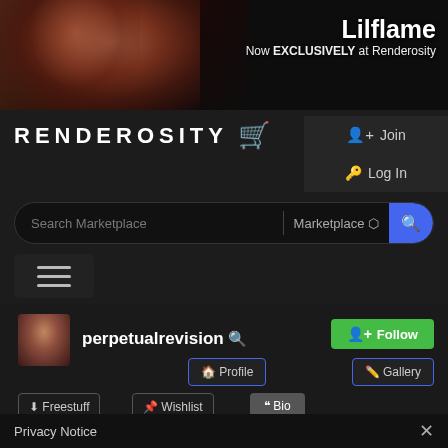[Figure (photo): Banner advertisement showing a woman in dark clothing with text 'Lilflame Now EXCLUSIVELY at Renderosity']
[Figure (logo): Renderosity logo with shopping cart icon in white on dark background]
Join
Log In
Search Marketplace
Marketplace
[Figure (screenshot): User profile section showing perpetualrevision with avatar, Follow button, Profile, Gallery, Freestuff, Wishlist, Bio tabs, and stats: 141 followers, 30527 views, 3278 likes]
perpetualrevision
Follow
Profile
Gallery
Freestuff
Wishlist
Bio
141
30527
3278
Privacy Notice